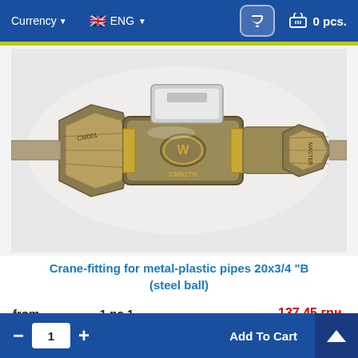Currency ▾   ENG ▾   [phone]   0 pcs.
[Figure (photo): Brass crane-fitting (ball valve) for metal-plastic pipes 20x3/4, showing threaded compression fittings on both ends with a 'W' branded body marked CM617N]
Crane-fitting for metal-plastic pipes 20x3/4 "B (steel ball)
|  | Quantity | Price |
| --- | --- | --- |
| from | 1 pc.1 | 137.45 грн. |
| from | 10 pc.1 | 110.95 грн. |
— 1 + Add To Cart  Код: 53188